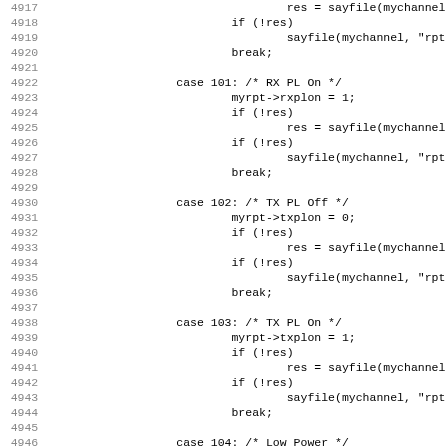[Figure (screenshot): Source code listing in C, lines 4917-4948, showing switch-case statements for RX PL On, TX PL Off, TX PL On, and Low Power cases with sayfile and break statements.]